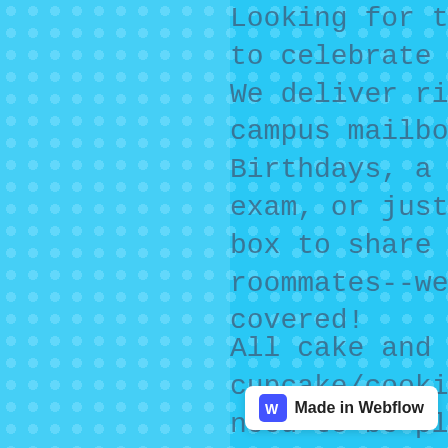Looking for that treat to celebrate on campus? We deliver right to your campus mailbox! Birthdays, a stressful exam, or just a treat box to share with your roommates--we've got you covered!
All cake and specialty cupcake/cookie orders need to be placed over the phone by calling 814-336-1338. Please note we need at least a week's notice for cake orders!
Need something quick? Our Mixed Treat Boxes and our Cookie Cakes are huge popular with students! To order, click here